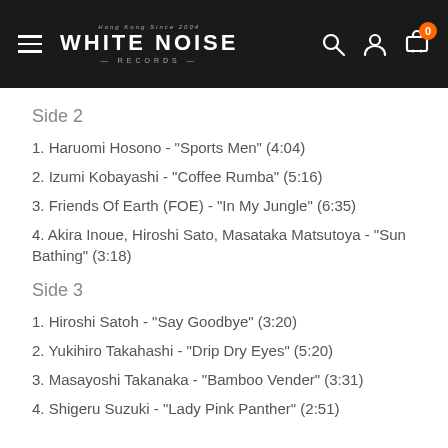WHITE NOISE RECORDS
Side 2
1. Haruomi Hosono - "Sports Men" (4:04)
2. Izumi Kobayashi - "Coffee Rumba" (5:16)
3. Friends Of Earth (FOE) - "In My Jungle" (6:35)
4. Akira Inoue, Hiroshi Sato, Masataka Matsutoya - "Sun Bathing" (3:18)
Side 3
1. Hiroshi Satoh - "Say Goodbye" (3:20)
2. Yukihiro Takahashi - "Drip Dry Eyes" (5:20)
3. Masayoshi Takanaka - "Bamboo Vender" (3:31)
4. Shigeru Suzuki - "Lady Pink Panther" (2:51)